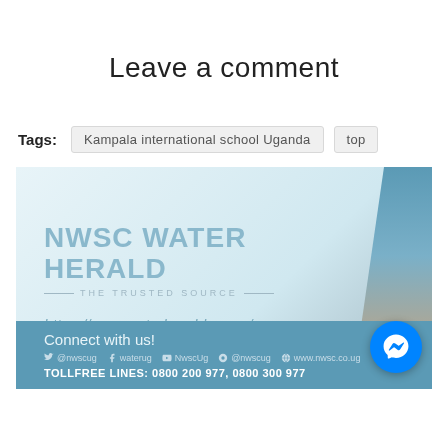Leave a comment
Tags: Kampala international school Uganda   top
[Figure (other): NWSC Water Herald advertisement banner showing logo text 'NWSC WATER HERALD THE TRUSTED SOURCE', URL 'https://nwscwaterherald.co.ug/', social media icons, Connect with us text, and toll free lines 0800 200 977, 0800 300 977]